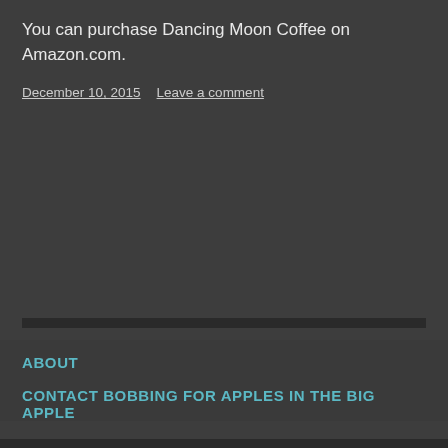You can purchase Dancing Moon Coffee on Amazon.com.
December 10, 2015  Leave a comment
ABOUT
CONTACT BOBBING FOR APPLES IN THE BIG APPLE